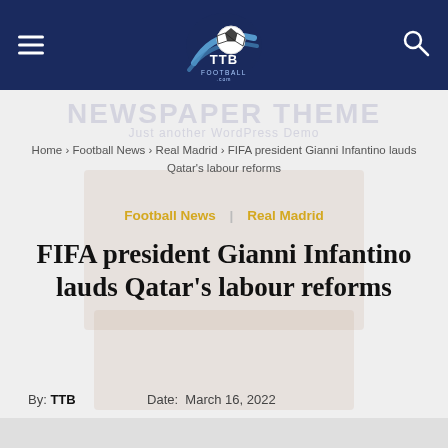TTB Football - Navigation header with hamburger menu, logo, and search icon
Home › Football News › Real Madrid › FIFA president Gianni Infantino lauds Qatar's labour reforms
Football News | Real Madrid
FIFA president Gianni Infantino lauds Qatar's labour reforms
By: TTB   Date: March 16, 2022